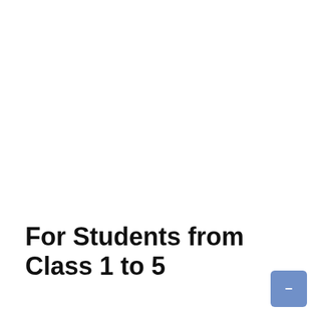For Students from Class 1 to 5